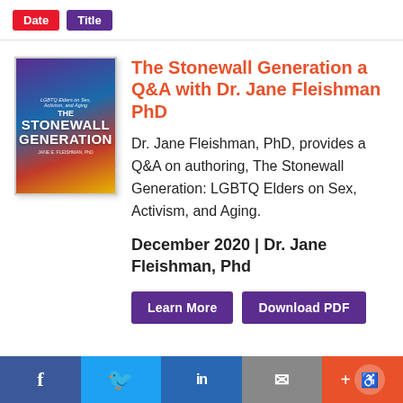Date | Title
[Figure (illustration): Book cover for The Stonewall Generation with colorful abstract background]
The Stonewall Generation a Q&A with Dr. Jane Fleishman PhD
Dr. Jane Fleishman, PhD, provides a Q&A on authoring, The Stonewall Generation: LGBTQ Elders on Sex, Activism, and Aging.
December 2020 | Dr. Jane Fleishman, Phd
Learn More | Download PDF
f  Twitter  in  Email  + Accessibility